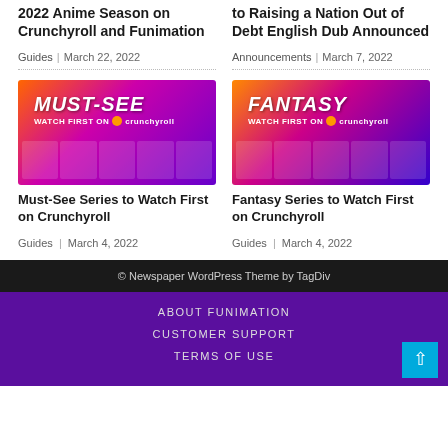2022 Anime Season on Crunchyroll and Funimation
Guides | March 22, 2022
to Raising a Nation Out of Debt English Dub Announced
Announcements | March 7, 2022
[Figure (photo): Must-See Watch First on Crunchyroll banner with anime thumbnails]
Must-See Series to Watch First on Crunchyroll
Guides | March 4, 2022
[Figure (photo): Fantasy Watch First on Crunchyroll banner with anime thumbnails]
Fantasy Series to Watch First on Crunchyroll
Guides | March 4, 2022
© Newspaper WordPress Theme by TagDiv
ABOUT FUNIMATION
CUSTOMER SUPPORT
TERMS OF USE